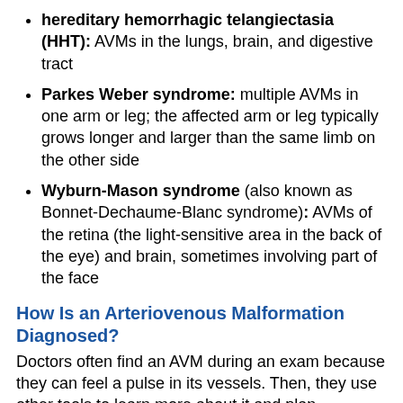hereditary hemorrhagic telangiectasia (HHT): AVMs in the lungs, brain, and digestive tract
Parkes Weber syndrome: multiple AVMs in one arm or leg; the affected arm or leg typically grows longer and larger than the same limb on the other side
Wyburn-Mason syndrome (also known as Bonnet-Dechaume-Blanc syndrome): AVMs of the retina (the light-sensitive area in the back of the eye) and brain, sometimes involving part of the face
How Is an Arteriovenous Malformation Diagnosed?
Doctors often find an AVM during an exam because they can feel a pulse in its vessels. Then, they use other tools to learn more about it and plan treatment, such as: